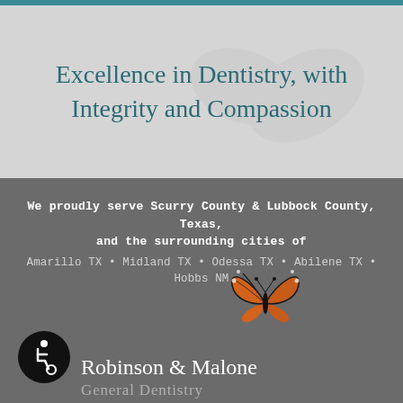Excellence in Dentistry, with Integrity and Compassion
We proudly serve Scurry County & Lubbock County, Texas, and the surrounding cities of
Amarillo TX • Midland TX • Odessa TX • Abilene TX • Hobbs NM
[Figure (logo): Robinson & Malone General Dentistry logo with monarch butterfly and accessibility symbol]
Robinson & Malone